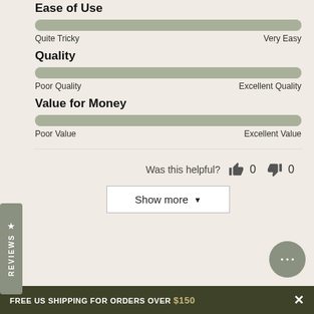Ease of Use
[Figure (infographic): Horizontal progress bar fully filled, labeled 'Quite Tricky' on left and 'Very Easy' on right]
Quality
[Figure (infographic): Horizontal progress bar fully filled, labeled 'Poor Quality' on left and 'Excellent Quality' on right]
Value for Money
[Figure (infographic): Horizontal progress bar fully filled, labeled 'Poor Value' on left and 'Excellent Value' on right]
Was this helpful? 👍 0 👎 0
Show more ▼
FREE US SHIPPING FOR ORDERS OVER $150 ×